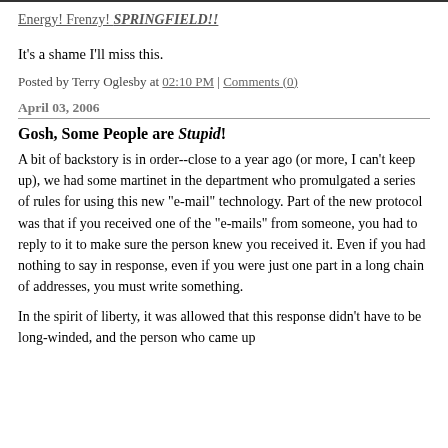Energy! Frenzy! SPRINGFIELD!!
It's a shame I'll miss this.
Posted by Terry Oglesby at 02:10 PM | Comments (0)
April 03, 2006
Gosh, Some People are Stupid!
A bit of backstory is in order--close to a year ago (or more, I can't keep up), we had some martinet in the department who promulgated a series of rules for using this new "e-mail" technology. Part of the new protocol was that if you received one of the "e-mails" from someone, you had to reply to it to make sure the person knew you received it. Even if you had nothing to say in response, even if you were just one part in a long chain of addresses, you must write something.
In the spirit of liberty, it was allowed that this response didn't have to be long-winded, and the person who came up